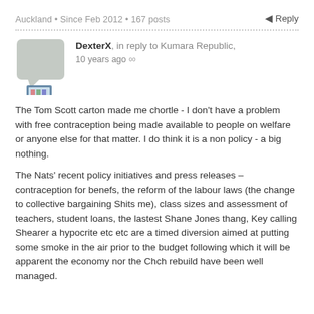Auckland • Since Feb 2012 • 167 posts
Reply
DexterX, in reply to Kumara Republic, 10 years ago ∞
[Figure (illustration): Gray speech bubble avatar placeholder and a computer/monitor emoji icon below it]
The Tom Scott carton made me chortle - I don't have a problem with free contraception being made available to people on welfare or anyone else for that matter. I do think it is a non policy - a big nothing.

The Nats' recent policy initiatives and press releases – contraception for benefs, the reform of the labour laws (the change to collective bargaining Shits me), class sizes and assessment of teachers, student loans, the lastest Shane Jones thang, Key calling Shearer a hypocrite etc etc are a timed diversion aimed at putting some smoke in the air prior to the budget following which it will be apparent the economy nor the Chch rebuild have been well managed.